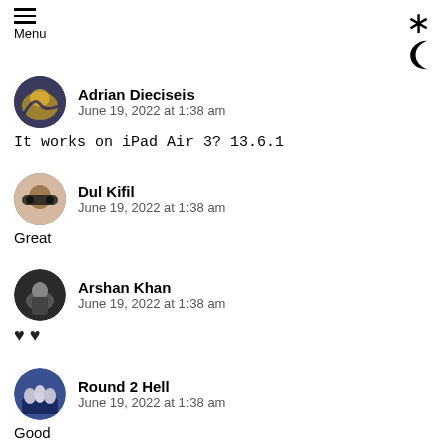Menu
Adrian Dieciseis
June 19, 2022 at 1:38 am
It works on iPad Air 3? 13.6.1
Dul Kifil
June 19, 2022 at 1:38 am
Great
Arshan Khan
June 19, 2022 at 1:38 am
♥♥
Round 2 Hell
June 19, 2022 at 1:38 am
Good